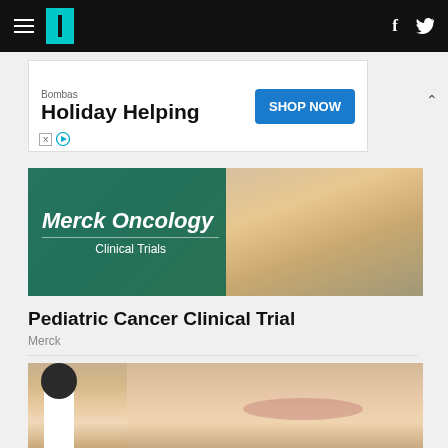HuffPost navigation with hamburger menu, logo, Facebook and Twitter icons
[Figure (screenshot): Bombas Holiday Helping advertisement banner with Shop Now button]
[Figure (photo): Merck Oncology Clinical Trials banner showing a child's face with teal overlay text]
Pediatric Cancer Clinical Trial
Merck
[Figure (photo): Close-up photo of a woman's face with a doctor performing a lip injection procedure]